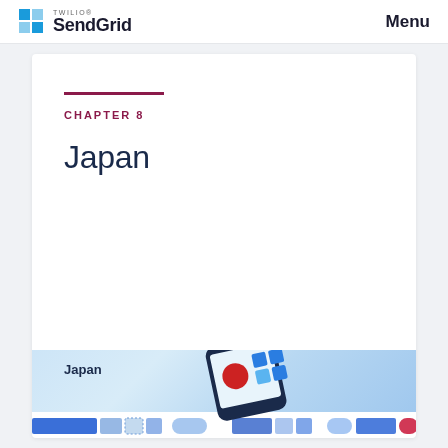Twilio SendGrid | Menu
CHAPTER 8
Japan
[Figure (illustration): Banner illustration showing Japan label with a smartphone graphic displaying a red circle and blue grid icons on a light blue background with blue decorative stripe at bottom]